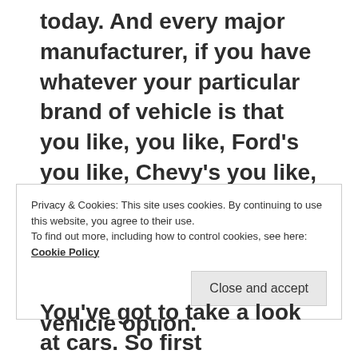today. And every major manufacturer, if you have whatever your particular brand of vehicle is that you like, you like, Ford's you like, Chevy's you like, Toyota's Honda's you like BMWs Mercedes on the high end Porsche's everyone has an electric vehicle option.
Now, number one, number two is there's tax credits that help bring the prices
Privacy & Cookies: This site uses cookies. By continuing to use this website, you agree to their use.
To find out more, including how to control cookies, see here: Cookie Policy
Close and accept
You've got to take a look at cars. So first